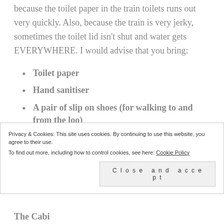because the toilet paper in the train toilets runs out very quickly. Also, because the train is very jerky, sometimes the toilet lid isn't shut and water gets EVERYWHERE. I would advise that you bring:
Toilet paper
Hand sanitiser
A pair of slip on shoes (for walking to and from the loo)
Privacy & Cookies: This site uses cookies. By continuing to use this website, you agree to their use.
To find out more, including how to control cookies, see here: Cookie Policy
Close and accept
The Cabi...